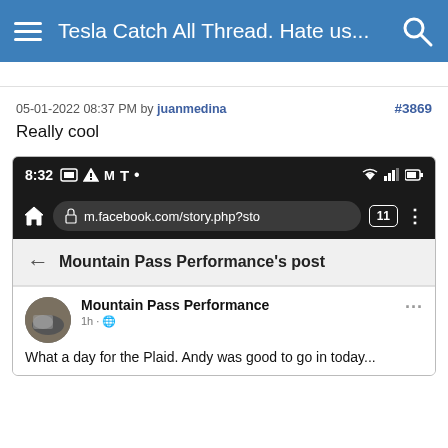Tesla Catch All Thread. Hate us...
05-01-2022 08:37 PM by juanmedina  #3869
Really cool
[Figure (screenshot): Mobile phone screenshot showing browser with URL m.facebook.com/story.php?sto open to Mountain Pass Performance's post on Facebook]
Mountain Pass Performance
1h · 🌐
What a day for the Plaid. Andy was good to go in today...